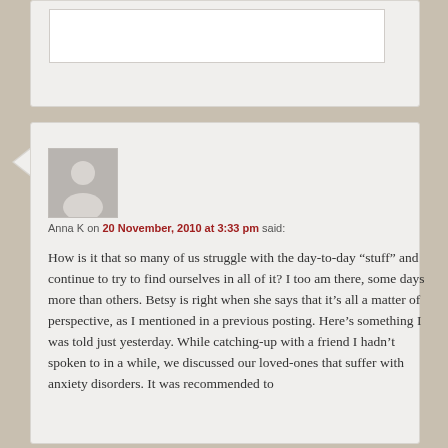[Figure (screenshot): Partial view of a blog comment box at the top of the page, showing a white text input area inside a light grey container.]
[Figure (photo): Grey avatar placeholder showing a silhouette of a person.]
Anna K on 20 November, 2010 at 3:33 pm said:
How is it that so many of us struggle with the day-to-day “stuff” and continue to try to find ourselves in all of it? I too am there, some days more than others. Betsy is right when she says that it’s all a matter of perspective, as I mentioned in a previous posting. Here’s something I was told just yesterday. While catching-up with a friend I hadn’t spoken to in a while, we discussed our loved-ones that suffer with anxiety disorders. It was recommended to